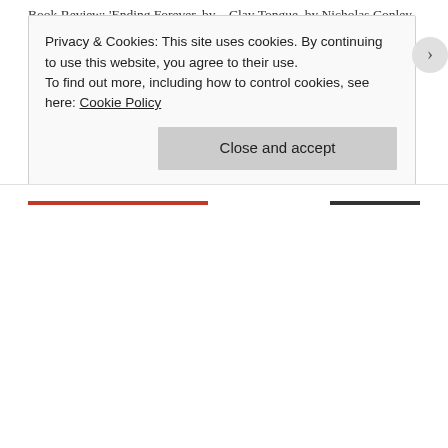Book Review: 'Ending Forever, by Nicholas Conley
June 20, 2022
In "book review"
Clay Tongue, by Nicholas Conley
December 31, 2016
In "book review"
Book Review: The Bookshop of Yesterdays, by Amy Meyerson
June 17, 2018
In "book review"
book review / books / reading
Privacy & Cookies: This site uses cookies. By continuing to use this website, you agree to their use.
To find out more, including how to control cookies, see here: Cookie Policy
Close and accept